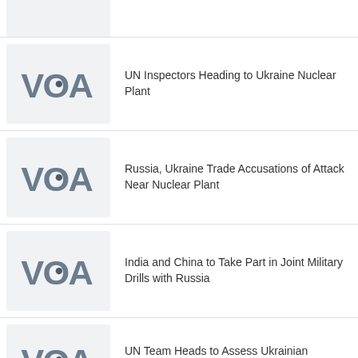[Figure (logo): VOA logo partially visible at top of page]
UN Inspectors Heading to Ukraine Nuclear Plant
Russia, Ukraine Trade Accusations of Attack Near Nuclear Plant
India and China to Take Part in Joint Military Drills with Russia
UN Team Heads to Assess Ukrainian Nuclear Power Plant